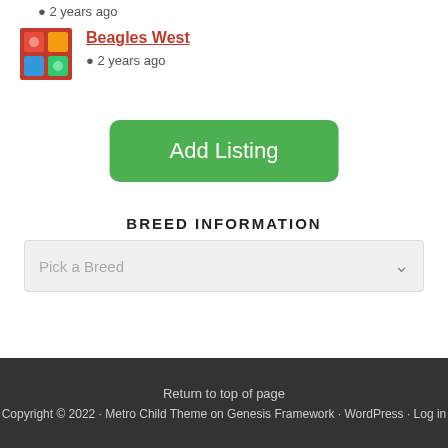2 years ago
Beagles West
2 years ago
Add Listing
BREED INFORMATION
Pick a Breed
Return to top of page
Copyright © 2022 · Metro Child Theme on Genesis Framework · WordPress · Log in